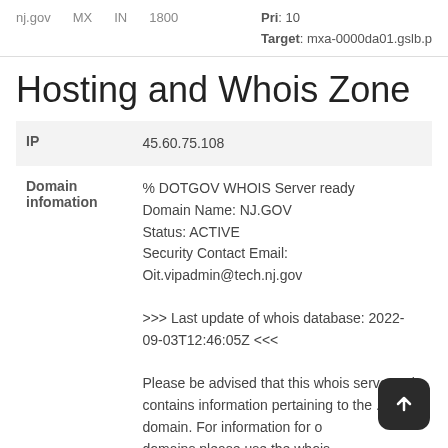nj.gov   MX   IN   1800   Pri: 10   Target: mxa-0000da01.gslb.p
Hosting and Whois Zone
| Field | Value |
| --- | --- |
| IP | 45.60.75.108 |
| Domain infomation | % DOTGOV WHOIS Server ready
Domain Name: NJ.GOV
Status: ACTIVE
Security Contact Email:
Oit.vipadmin@tech.nj.gov

>>> Last update of whois database: 2022-09-03T12:46:05Z <<<

Please be advised that this whois server only contains information pertaining to the .GOV domain. For information for other domains please use the whois server at RS.INTERNIC.NET. |